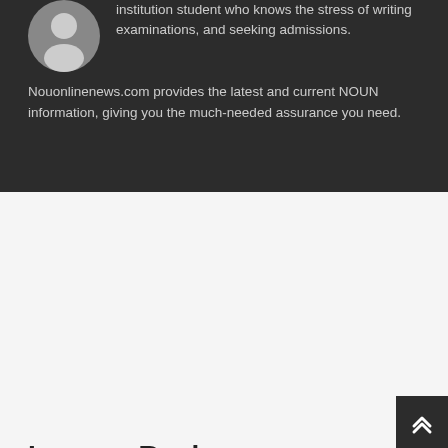[Figure (illustration): Gray placeholder avatar silhouette (person icon) on dark background]
institution student who knows the stress of writing examinations, and seeking admissions. Nouonlinenews.com provides the latest and current NOUN information, giving you the much-needed assurance you need.
Leave a Reply
Comment Text*